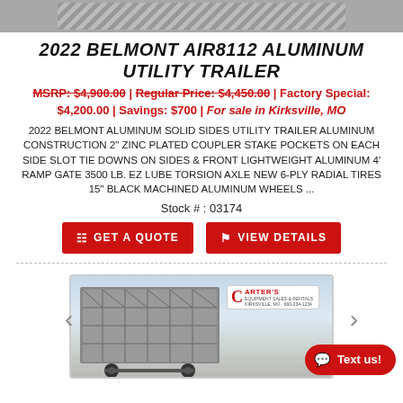[Figure (photo): Top partial photo of a trailer, gravel/concrete surface visible, mostly cropped]
2022 BELMONT AIR8112 ALUMINUM UTILITY TRAILER
MSRP: $4,900.00 | Regular Price: $4,450.00 | Factory Special: $4,200.00 | Savings: $700 | For sale in Kirksville, MO
2022 BELMONT ALUMINUM SOLID SIDES UTILITY TRAILER ALUMINUM CONSTRUCTION 2" ZINC PLATED COUPLER STAKE POCKETS ON EACH SIDE SLOT TIE DOWNS ON SIDES & FRONT LIGHTWEIGHT ALUMINUM 4' RAMP GATE 3500 LB. EZ LUBE TORSION AXLE NEW 6-PLY RADIAL TIRES 15" BLACK MACHINED ALUMINUM WHEELS ...
Stock #: 03174
GET A QUOTE
VIEW DETAILS
[Figure (photo): Photo of a metal utility trailer with lattice-style sides, Carter's dealership sign visible in background, outdoor setting]